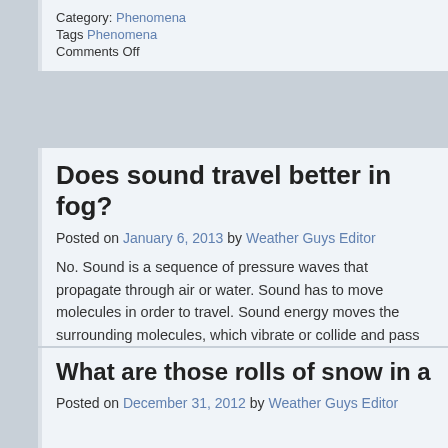Category: Phenomena
Tags Phenomena
Comments Off
Does sound travel better in fog?
Posted on January 6, 2013 by Weather Guys Editor
No. Sound is a sequence of pressure waves that propagate through air or water. Sound has to move molecules in order to travel. Sound energy moves the surrounding molecules, which vibrate or collide and pass the sound along until it reaches our ears. The closer the molecules are to each other, the easier... That is why sound travels farther through water than it does through air and why it cannot move through space. Continue reading →
Category: Phenomena
Tags Fog, Phenomena
Comments Off
What are those rolls of snow in a farm fi
Posted on December 31, 2012 by Weather Guys Editor